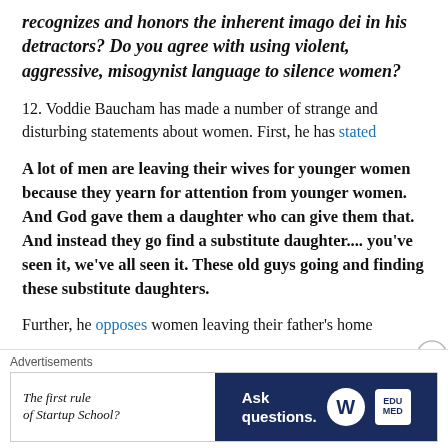recognizes and honors the inherent imago dei in his detractors? Do you agree with using violent, aggressive, misogynist language to silence women?
12. Voddie Baucham has made a number of strange and disturbing statements about women. First, he has stated
A lot of men are leaving their wives for younger women because they yearn for attention from younger women. And God gave them a daughter who can give them that. And instead they go find a substitute daughter.... you've seen it, we've all seen it. These old guys going and finding these substitute daughters.
Further, he opposes women leaving their father's home...
[Figure (other): Advertisement banner: left side white background with italic text 'The first rule of Startup School?', right side dark blue background with white bold text 'Ask questions.' and WordPress logo and another logo]